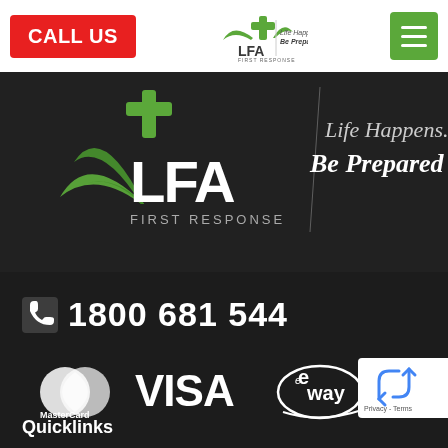[Figure (logo): CALL US red button in top-left header]
[Figure (logo): LFA First Response logo with green wings cross and tagline Life Happens Be Prepared in header]
[Figure (logo): Green hamburger menu button in top-right header]
[Figure (illustration): Dark hero banner with large LFA First Response logo green wings and text Life Happens. Be Prepared]
1800 681 544
[Figure (logo): MasterCard, VISA, and eWay payment logos in white on dark background]
Quicklinks